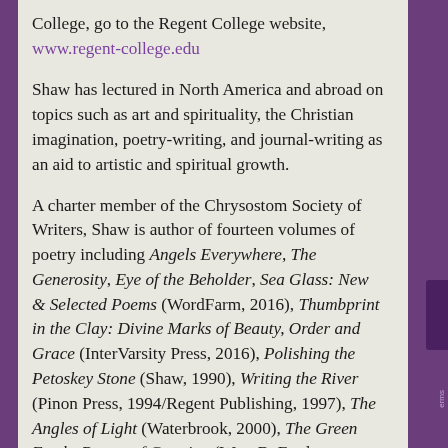College, go to the Regent College website, www.regent-college.edu
Shaw has lectured in North America and abroad on topics such as art and spirituality, the Christian imagination, poetry-writing, and journal-writing as an aid to artistic and spiritual growth.
A charter member of the Chrysostom Society of Writers, Shaw is author of fourteen volumes of poetry including Angels Everywhere, The Generosity, Eye of the Beholder, Sea Glass: New & Selected Poems (WordFarm, 2016), Thumbprint in the Clay: Divine Marks of Beauty, Order and Grace (InterVarsity Press, 2016), Polishing the Petoskey Stone (Shaw, 1990), Writing the River (Pinon Press, 1994/Regent Publishing, 1997), The Angles of Light (Waterbrook, 2000), The Green Earth: Poems of Creation (Wm. B. Eerdmans, 2002), has edited three poetry anthologies and a festschrift, The Swiftly